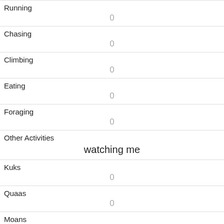| Running | 0 |
| Chasing | 0 |
| Climbing | 0 |
| Eating | 0 |
| Foraging | 0 |
| Other Activities | watching me |
| Kuks | 0 |
| Quaas | 0 |
| Moans | 0 |
| Tail flags | 0 |